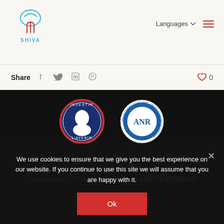[Figure (logo): SHIVA brain logo with teal brain icon above text SHIVA]
Languages
Share
[Figure (logo): Investir L'Avenir circular logo with Marianne profile in blue and red border]
[Figure (logo): ANR circular logo - Projet Finance par l'ANR / Project Funded by the ANR]
This work is supported by a grant overseen by the French National Research Agency (ANR) as part of the "Investments d'Avenir" Programme ANR-18-RHUS-002
We use cookies to ensure that we give you the best experience on our website. If you continue to use this site we will assume that you are happy with it.